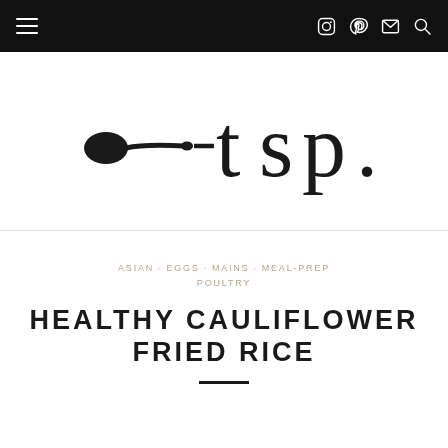Navigation bar with hamburger menu, Instagram, Pinterest, Mail, Search icons
[Figure (logo): tsp. food blog logo with spoon graphic and stylized text 'tsp.']
ASIAN · EGGS · MAINS · MEAL-PREP · POULTRY
HEALTHY CAULIFLOWER FRIED RICE